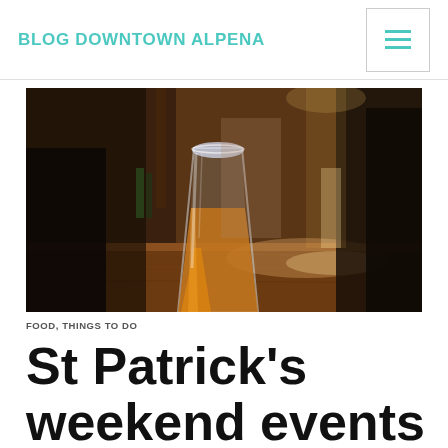BLOG DOWNTOWN ALPENA
[Figure (photo): Interior bar scene with a pint glass of amber beer in the foreground on a wooden bar counter, with blurred patrons and bar interior in the background]
FOOD, THINGS TO DO
St Patrick's weekend events in Downtown Alpena